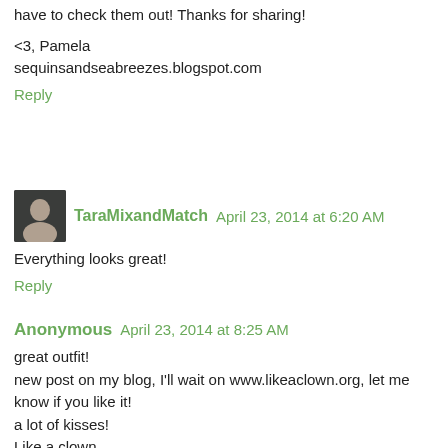have to check them out! Thanks for sharing!
<3, Pamela
sequinsandseabreezes.blogspot.com
Reply
TaraMixandMatch  April 23, 2014 at 6:20 AM
Everything looks great!
Reply
Anonymous  April 23, 2014 at 8:25 AM
great outfit!
new post on my blog, I'll wait on www.likeaclown.org, let me know if you like it!
a lot of kisses!
Like a clown
Reply